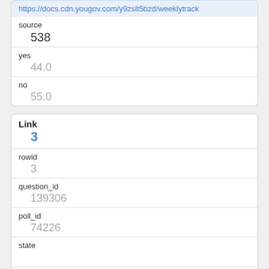https://docs.cdn.yougov.com/y9zslt5bzd/weeklytrack
| field | value |
| --- | --- |
| source | 538 |
| yes | 44.0 |
| no | 55.0 |
| field | value |
| --- | --- |
| Link | 3 |
| rowid | 3 |
| question_id | 139306 |
| poll_id | 74226 |
| state |  |
| politician_id | 11 |
| politician |  |